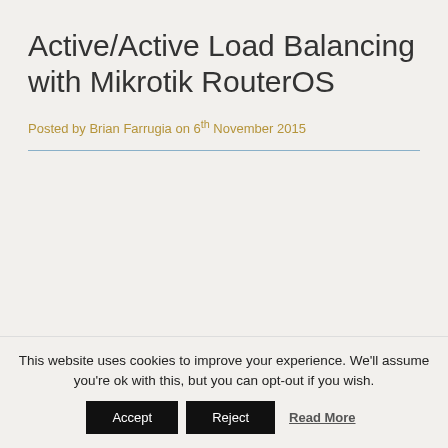Active/Active Load Balancing with Mikrotik RouterOS
Posted by Brian Farrugia on 6th November 2015
This website uses cookies to improve your experience. We'll assume you're ok with this, but you can opt-out if you wish.
Accept | Reject | Read More